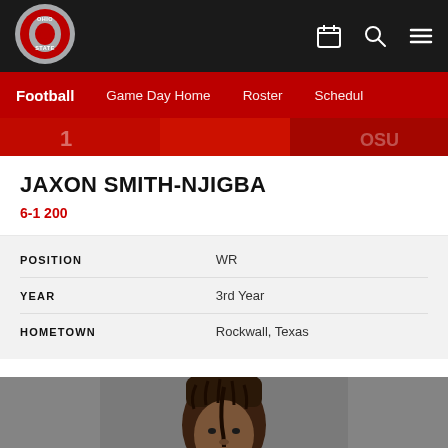[Figure (logo): Ohio State Buckeyes athletic logo — circular red and silver block O design]
Football  Game Day Home  Roster  Schedule
[Figure (photo): Action photo strip showing Ohio State football player(s) in red jerseys — partial/cropped view]
JAXON SMITH-NJIGBA
6-1 200
| Attribute | Value |
| --- | --- |
| POSITION | WR |
| YEAR | 3rd Year |
| HOMETOWN | Rockwall, Texas |
[Figure (photo): Headshot photo of Jaxon Smith-Njigba against a gray background, showing his face and top of head with braided hair]